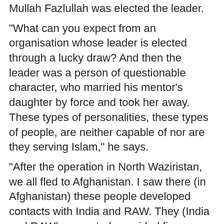Mullah Fazlullah was elected the leader.
"What can you expect from an organisation whose leader is elected through a lucky draw? And then the leader was a person of questionable character, who married his mentor's daughter by force and took her away. These types of personalities, these types of people, are neither capable of nor are they serving Islam," he says.
"After the operation in North Waziristan, we all fled to Afghanistan. I saw there (in Afghanistan) these people developed contacts with India and RAW. They (India and RAW) supported, provided finances, and targets. They (TTP) took money for every activity they did," admits the former militant spokesman, a confirmation of Pakistan's long held position that Indian spy agency RAW and Afghanistan's National Directorate of Intelligence have been fomenting terrorism in